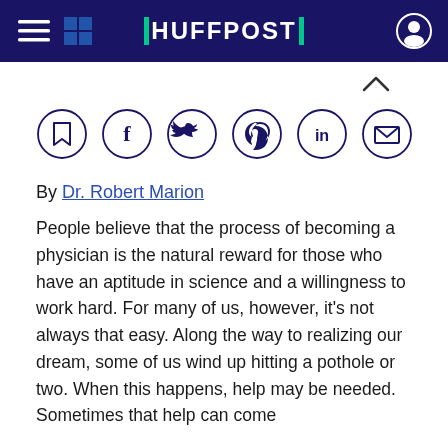HUFFPOST
[Figure (other): Social sharing icons row: bookmark, Facebook, Twitter, Pinterest, LinkedIn, email — each in a circular outline button]
By Dr. Robert Marion
People believe that the process of becoming a physician is the natural reward for those who have an aptitude in science and a willingness to work hard. For many of us, however, it's not always that easy. Along the way to realizing our dream, some of us wind up hitting a pothole or two. When this happens, help may be needed. Sometimes that help can come